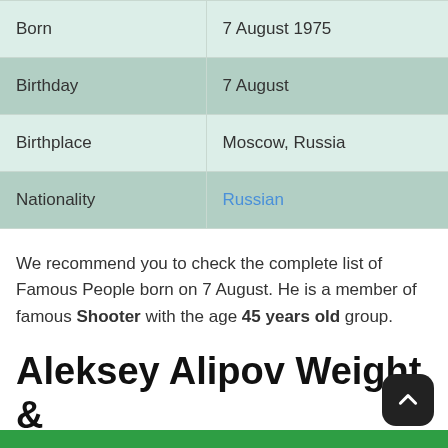| Field | Value |
| --- | --- |
| Born | 7 August 1975 |
| Birthday | 7 August |
| Birthplace | Moscow, Russia |
| Nationality | Russian |
We recommend you to check the complete list of Famous People born on 7 August. He is a member of famous Shooter with the age 45 years old group.
Aleksey Alipov Weight & Measurements